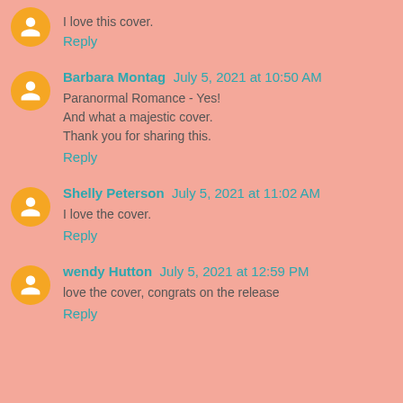I love this cover.
Reply
Barbara Montag  July 5, 2021 at 10:50 AM
Paranormal Romance - Yes!
And what a majestic cover.
Thank you for sharing this.
Reply
Shelly Peterson  July 5, 2021 at 11:02 AM
I love the cover.
Reply
wendy Hutton  July 5, 2021 at 12:59 PM
love the cover, congrats on the release
Reply